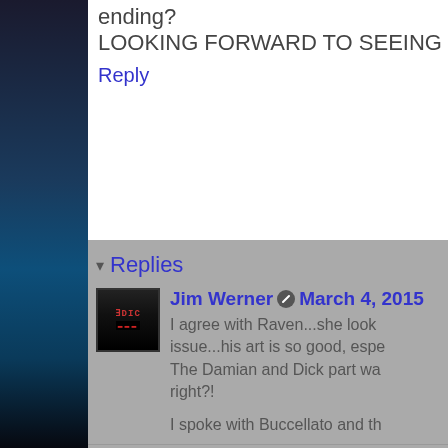ending?
LOOKING FORWARD TO SEEING
Reply
Replies
Jim Werner  March 4, 2015
I agree with Raven...she look issue...his art is so good, espe The Damian and Dick part wa right?!
I spoke with Buccellato and th
Reply